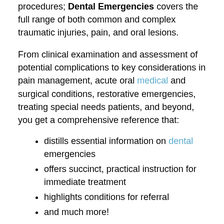procedures; Dental Emergencies covers the full range of both common and complex traumatic injuries, pain, and oral lesions.
From clinical examination and assessment of potential complications to key considerations in pain management, acute oral medical and surgical conditions, restorative emergencies, treating special needs patients, and beyond, you get a comprehensive reference that:
distills essential information on dental emergencies
offers succinct, practical instruction for immediate treatment
highlights conditions for referral
and much more!
This book is a clear and comprehensive guide to the treatment and management of dental emergencies in clinical practice. Written and edited by experts in the field, the book provides